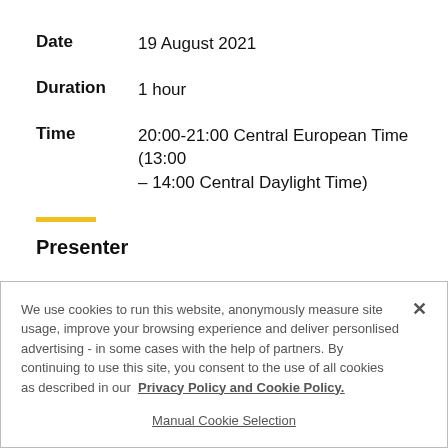Date   19 August 2021
Duration   1 hour
Time   20:00-21:00 Central European Time (13:00 – 14:00 Central Daylight Time)
Presenter
We use cookies to run this website, anonymously measure site usage, improve your browsing experience and deliver personlised advertising - in some cases with the help of partners. By continuing to use this site, you consent to the use of all cookies as described in our Privacy Policy and Cookie Policy.
Manual Cookie Selection